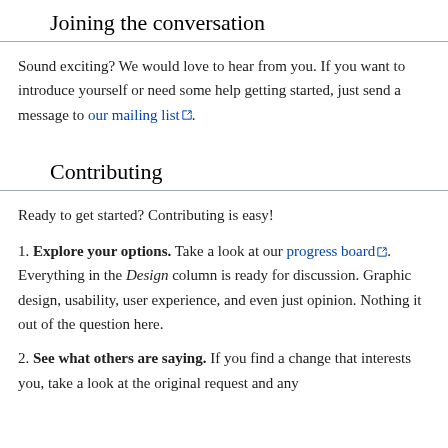Joining the conversation
Sound exciting? We would love to hear from you. If you want to introduce yourself or need some help getting started, just send a message to our mailing list.
Contributing
Ready to get started? Contributing is easy!
1. Explore your options. Take a look at our progress board. Everything in the Design column is ready for discussion. Graphic design, usability, user experience, and even just opinion. Nothing it out of the question here.
2. See what others are saying. If you find a change that interests you, take a look at the original request and any...